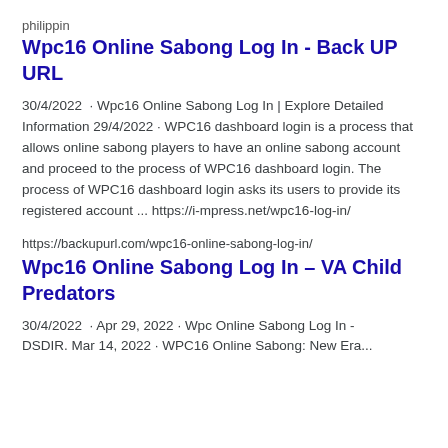philippin
Wpc16 Online Sabong Log In - Back UP URL
30/4/2022 · Wpc16 Online Sabong Log In | Explore Detailed Information 29/4/2022 · WPC16 dashboard login is a process that allows online sabong players to have an online sabong account and proceed to the process of WPC16 dashboard login. The process of WPC16 dashboard login asks its users to provide its registered account ... https://i-mpress.net/wpc16-log-in/
https://backupurl.com/wpc16-online-sabong-log-in/
Wpc16 Online Sabong Log In – VA Child Predators
30/4/2022 · Apr 29, 2022 · Wpc Online Sabong Log In - DSDIR. Mar 14, 2022 · WPC16 Online Sabong: New Era...